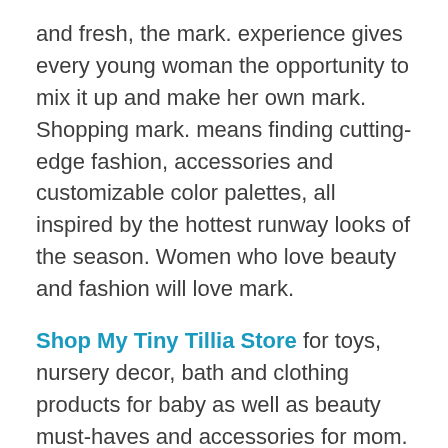and fresh, the mark. experience gives every young woman the opportunity to mix it up and make her own mark. Shopping mark. means finding cutting-edge fashion, accessories and customizable color palettes, all inspired by the hottest runway looks of the season. Women who love beauty and fashion will love mark.
Shop My Tiny Tillia Store for toys, nursery decor, bath and clothing products for baby as well as beauty must-haves and accessories for mom. And Tiny Tillia now all grown up! Tiny Tillia now goes up to age 4!
Have a question? Contact Me. I am ready to help you find the right products and give you the premium shopping experience you desire.